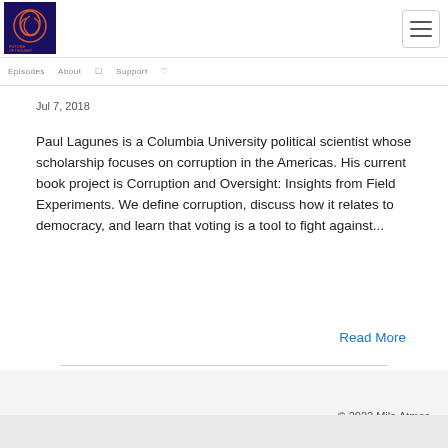Future of Thought — navigation header with logo and hamburger menu
Jul 7, 2018
Paul Lagunes is a Columbia University political scientist whose scholarship focuses on corruption in the Americas. His current book project is Corruption and Oversight: Insights from Field Experiments. We define corruption, discuss how it relates to democracy, and learn that voting is a tool to fight against...
Read More
© 2022 Mila Atmos